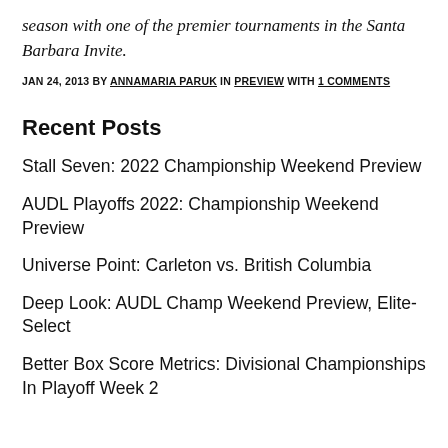season with one of the premier tournaments in the Santa Barbara Invite.
JAN 24, 2013 BY ANNAMARIA PARUK IN PREVIEW WITH 1 COMMENTS
Recent Posts
Stall Seven: 2022 Championship Weekend Preview
AUDL Playoffs 2022: Championship Weekend Preview
Universe Point: Carleton vs. British Columbia
Deep Look: AUDL Champ Weekend Preview, Elite-Select
Better Box Score Metrics: Divisional Championships In Playoff Week 2